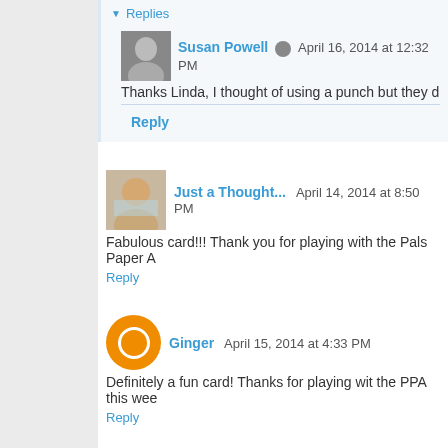Replies
Susan Powell  April 16, 2014 at 12:32 PM
Thanks Linda, I thought of using a punch but they d
Reply
Just a Thought...  April 14, 2014 at 8:50 PM
Fabulous card!!! Thank you for playing with the Pals Paper A
Reply
Ginger  April 15, 2014 at 4:33 PM
Definitely a fun card! Thanks for playing wit the PPA this wee
Reply
Susan Powell  April 16, 2014 at 12:33 PM
Thank you Ladies :)